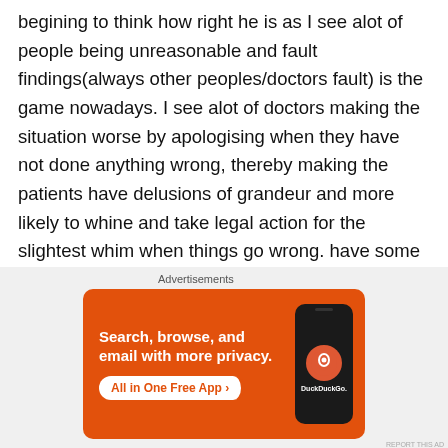begining to think how right he is as I see alot of people being unreasonable and fault findings(always other peoples/doctors fault) is the game nowadays. I see alot of doctors making the situation worse by apologising when they have not done anything wrong, thereby making the patients have delusions of grandeur and more likely to whine and take legal action for the slightest whim when things go wrong. have some self respect please and do NOT apologise to whiners.
[Figure (other): DuckDuckGo advertisement banner: orange background with text 'Search, browse, and email with more privacy.' and 'All in One Free App' button, with a smartphone image showing DuckDuckGo logo.]